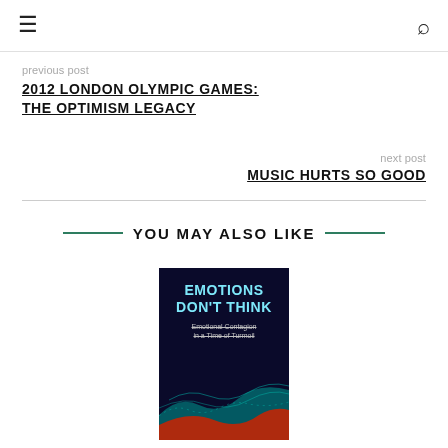≡  🔍
previous post
2012 LONDON OLYMPIC GAMES: THE OPTIMISM LEGACY
next post
MUSIC HURTS SO GOOD
YOU MAY ALSO LIKE
[Figure (illustration): Book cover for 'Emotions Don't Think: Emotional Contagion in a Time of Turmoil' with dark background and colorful wave graphics]